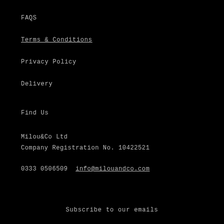FAQS
Terms & Conditions
Privacy Policy
Delivery
Find Us
Milou&Co Ltd
Company Registration No. 10422521
0333 0506509  info@milouandco.com
Subscribe to our emails